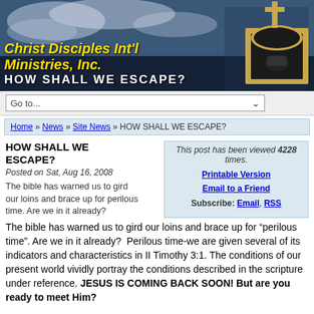[Figure (photo): Church bell tower with cross against cloudy sky, dark blue banner background with site title and subtitle]
Christ Disciples Int'l Ministries, Inc.
HOW SHALL WE ESCAPE?
Go to...
Home » News » Site News » HOW SHALL WE ESCAPE?
HOW SHALL WE ESCAPE?
Posted on Sat, Aug 16, 2008
The bible has warned us to gird our loins and brace up for perilous time. Are we in it already?
This post has been viewed 4228 times.
Printable Version
Email to a Friend
Subscribe: Email, RSS
The bible has warned us to gird our loins and brace up for “perilous time”. Are we in it already?  Perilous time-we are given several of its indicators and characteristics in II Timothy 3:1. The conditions of our present world vividly portray the conditions described in the scripture under reference. JESUS IS COMING BACK SOON! But are you ready to meet Him?